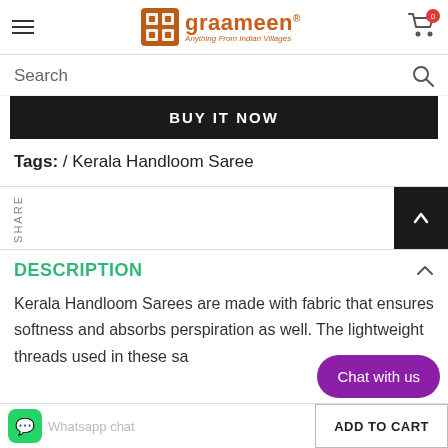graameen® — Anything From Indian Villages
Search
BUY IT NOW
Tags: / Kerala Handloom Saree
SHARE
DESCRIPTION
Kerala Handloom Sarees are made with fabric that ensures softness and absorbs perspiration as well. The lightweight threads used in these sa...
Chat with us
Whatsapp chat
ADD TO CART